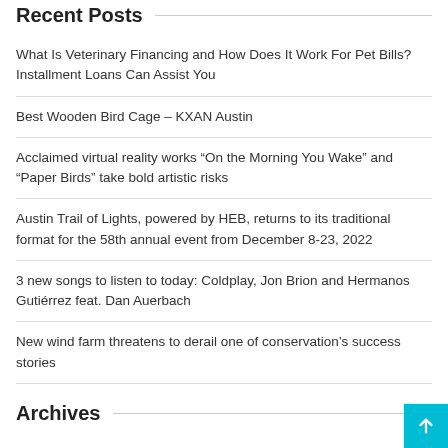Recent Posts
What Is Veterinary Financing and How Does It Work For Pet Bills? Installment Loans Can Assist You
Best Wooden Bird Cage – KXAN Austin
Acclaimed virtual reality works “On the Morning You Wake” and “Paper Birds” take bold artistic risks
Austin Trail of Lights, powered by HEB, returns to its traditional format for the 58th annual event from December 8-23, 2022
3 new songs to listen to today: Coldplay, Jon Brion and Hermanos Gutiérrez feat. Dan Auerbach
New wind farm threatens to derail one of conservation’s success stories
Archives